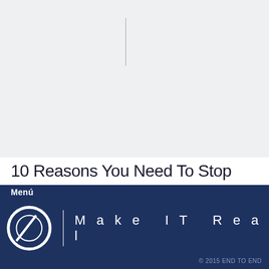[Figure (other): Light gray background section with a thin vertical line in the upper center area]
10 Reasons You Need To Stop
Menú
[Figure (logo): White circular logo with slash mark, followed by vertical divider and 'Make IT Real' text in spaced letters]
© 2015 END TO END